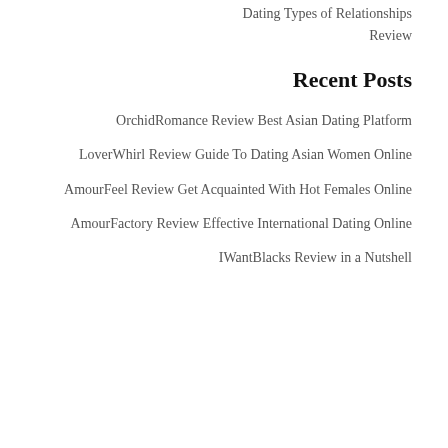Dating Types of Relationships
Review
Recent Posts
OrchidRomance Review Best Asian Dating Platform
LoverWhirl Review Guide To Dating Asian Women Online
AmourFeel Review Get Acquainted With Hot Females Online
AmourFactory Review Effective International Dating Online
IWantBlacks Review in a Nutshell